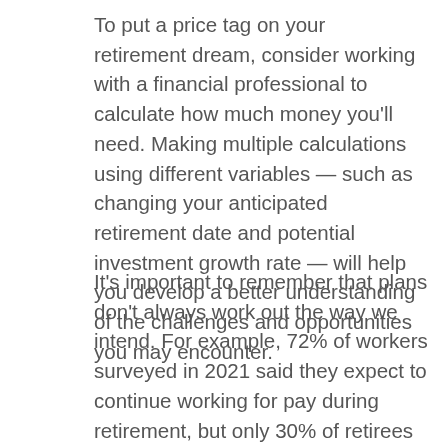To put a price tag on your retirement dream, consider working with a financial professional to calculate how much money you'll need. Making multiple calculations using different variables — such as changing your anticipated retirement date and potential investment growth rate — will help you develop a better understanding of the challenges and opportunities you may encounter.
It's important to remember that plans don't always work out the way we intend. For example, 72% of workers surveyed in 2021 said they expect to continue working for pay during retirement, but only 30% of retirees said they actually did so. And nearly half (46%) of current retirees left the workforce earlier than expected.¹ Understanding the financial implications of an unanticipated change in